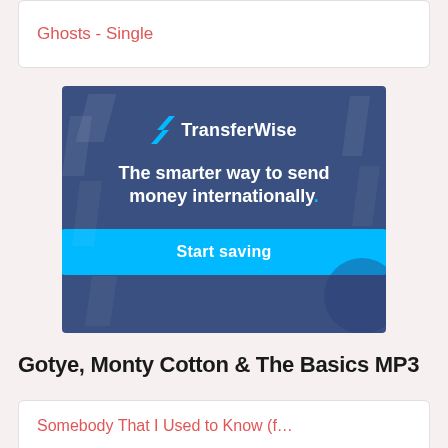Ghosts - Single
[Figure (infographic): TransferWise advertisement banner with blue background. Shows TransferWise logo with lightning bolt icon, tagline 'The smarter way to send money internationally.' and a cyan 'Start saving' button.]
Gotye, Monty Cotton & The Basics MP3
Somebody That I Used to Know (f…